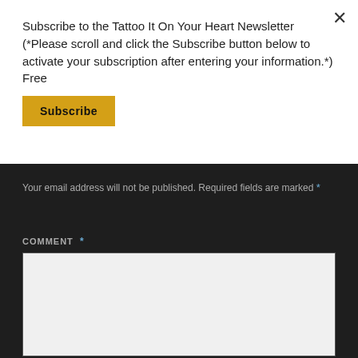×
Subscribe to the Tattoo It On Your Heart Newsletter (*Please scroll and click the Subscribe button below to activate your subscription after entering your information.*) Free
[Figure (other): Yellow Subscribe button with bold black text]
Your email address will not be published. Required fields are marked *
COMMENT *
[Figure (other): Empty comment text area input box with light gray background]